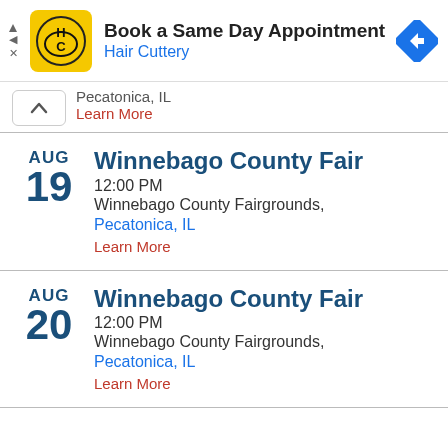[Figure (other): Hair Cuttery advertisement banner with yellow logo, 'Book a Same Day Appointment' title, 'Hair Cuttery' subtitle in blue, and a blue navigation arrow icon]
Pecatonica, IL
Learn More
AUG 19 — Winnebago County Fair
12:00 PM
Winnebago County Fairgrounds,
Pecatonica, IL
Learn More
AUG 20 — Winnebago County Fair
12:00 PM
Winnebago County Fairgrounds,
Pecatonica, IL
Learn More